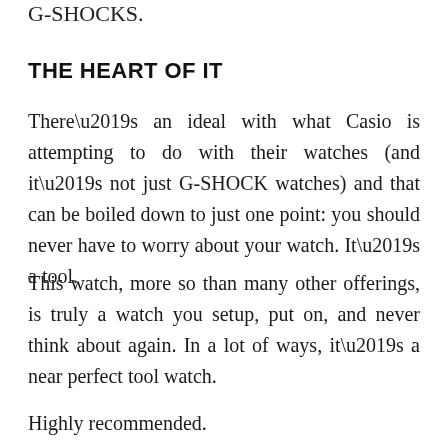G-SHOCKS.
THE HEART OF IT
There’s an ideal with what Casio is attempting to do with their watches (and it’s not just G-SHOCK watches) and that can be boiled down to just one point: you should never have to worry about your watch. It’s a tool.
This watch, more so than many other offerings, is truly a watch you setup, put on, and never think about again. In a lot of ways, it’s a near perfect tool watch.
Highly recommended.